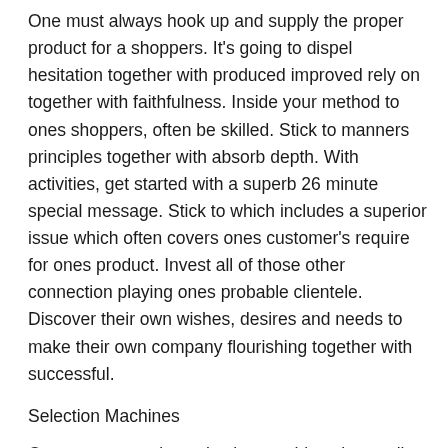One must always hook up and supply the proper product for a shoppers. It's going to dispel hesitation together with produced improved rely on together with faithfulness. Inside your method to ones shoppers, often be skilled. Stick to manners principles together with absorb depth. With activities, get started with a superb 26 minute special message. Stick to which includes a superior issue which often covers ones customer's require for ones product. Invest all of those other connection playing ones probable clientele. Discover their own wishes, desires and needs to make their own company flourishing together with successful.
Selection Machines
Ones process using selection machines is usually just a bit totally different from ones process which includes a probable clientele. Selection Machines retain the vital to help discover your enterprise and